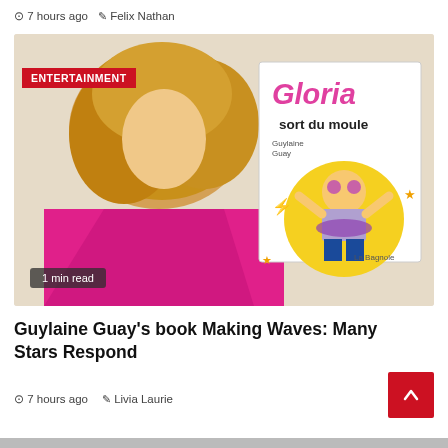7 hours ago   Felix Nathan
[Figure (photo): Photo of Guylaine Guay (woman with curly blonde hair wearing a hot pink blazer) alongside a book cover for 'Gloria sort du moule' by Guylaine Guay, published by La Bagnole. An ENTERTAINMENT label badge is overlaid on the top-left of the image, and a '1 min read' badge is on the lower-left.]
Guylaine Guay's book Making Waves: Many Stars Respond
7 hours ago   Livia Laurie